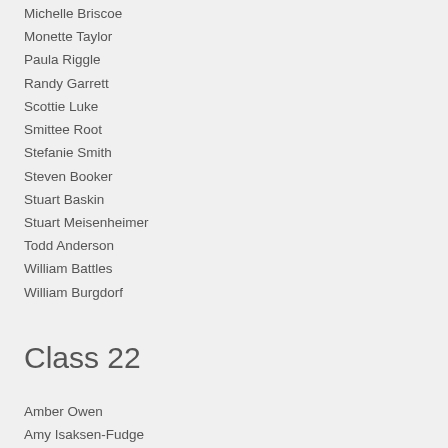Michelle Briscoe
Monette Taylor
Paula Riggle
Randy Garrett
Scottie Luke
Smittee Root
Stefanie Smith
Steven Booker
Stuart Baskin
Stuart Meisenheimer
Todd Anderson
William Battles
William Burgdorf
Class 22
Amber Owen
Amy Isaksen-Fudge
Andy Christopher
Angela Jenkins
Anna Malone
Astilma Vargas
Chet Thomas
Christina Fulsom
Cindy Smoak
Daniel Bozeman